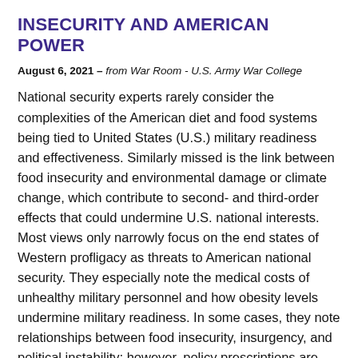INSECURITY AND AMERICAN POWER
August 6, 2021 – from War Room - U.S. Army War College
National security experts rarely consider the complexities of the American diet and food systems being tied to United States (U.S.) military readiness and effectiveness. Similarly missed is the link between food insecurity and environmental damage or climate change, which contribute to second- and third-order effects that could undermine U.S. national interests. Most views only narrowly focus on the end states of Western profligacy as threats to American national security. They especially note the medical costs of unhealthy military personnel and how obesity levels undermine military readiness. In some cases, they note relationships between food insecurity, insurgency, and political instability; however, policy prescriptions are more reactive to, than proscriptive of, the root causes